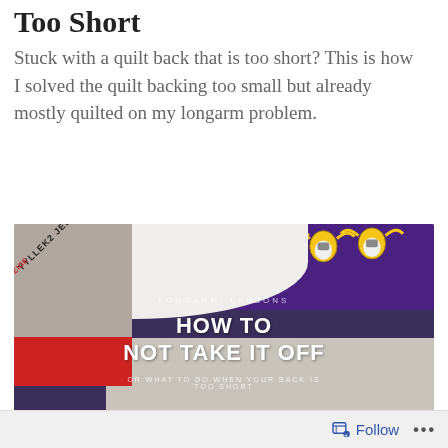Too Short
Stuck with a quilt back that is too short? This is how I solved the quilt backing too small but already mostly quilted on my longarm problem.
[Figure (photo): Photo of quilt backing material on a longarm machine with text overlay reading 'LONGARM LESSONS / HOW TO NOT TAKE IT OFF / OR WHAT TO DO WHEN YOUR BACK IS TOO SHORT'. Purple Vikings fabric is visible in the background along with white batting and red frame parts.]
Follow ...